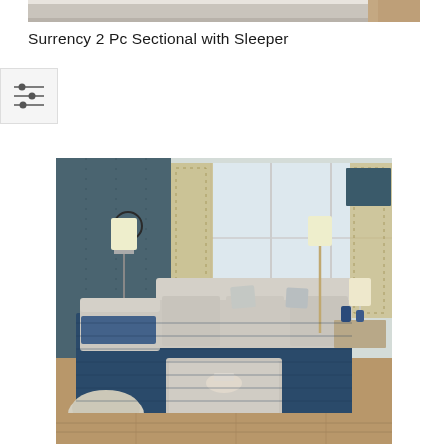[Figure (photo): Partial top view of a bed with white bedding and wooden elements, cropped at top of page]
Surrency 2 Pc Sectional with Sleeper
[Figure (illustration): Filter/settings sliders icon]
[Figure (photo): Living room scene featuring the Surrency 2 Pc Sectional with Sleeper in light gray fabric, shown with chaise on left, blue decorative throw, matching ottoman, floor lamp, blue area rug, and large windows with floral curtains in background]